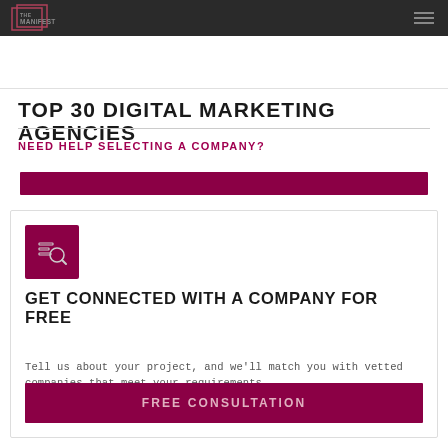THE MANIFEST
TOP 30 DIGITAL MARKETING AGENCIES
NEED HELP SELECTING A COMPANY?
[Figure (other): Dark maroon CTA button strip]
[Figure (other): Search/filter icon in dark maroon square]
GET CONNECTED WITH A COMPANY FOR FREE
Tell us about your project, and we'll match you with vetted companies that meet your requirements.
FREE CONSULTATION